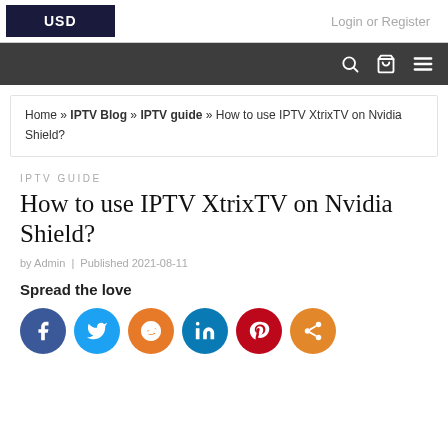USD | Login or Register
Home » IPTV Blog » IPTV guide » How to use IPTV XtrixTV on Nvidia Shield?
IPTV GUIDE
How to use IPTV XtrixTV on Nvidia Shield?
by Admin | Published 2021-08-11
Spread the love
[Figure (infographic): Social share buttons: Facebook, Twitter, Reddit, LinkedIn, Pinterest, Share]